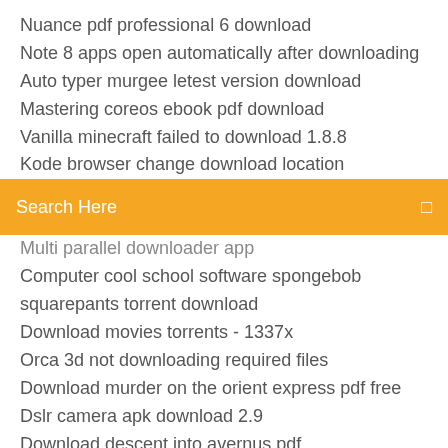Nuance pdf professional 6 download
Note 8 apps open automatically after downloading
Auto typer murgee letest version download
Mastering coreos ebook pdf download
Vanilla minecraft failed to download 1.8.8
Kode browser change download location
[Figure (screenshot): Orange search bar with text 'Search Here' and a small icon on the right]
Multi parallel downloader app
Computer cool school software spongebob squarepants torrent download
Download movies torrents - 1337x
Orca 3d not downloading required files
Download murder on the orient express pdf free
Dslr camera apk download 2.9
Download descent into avernus pdf
Best mapd to download in minecraft windows 10
Google for android download
The recover text converter free download